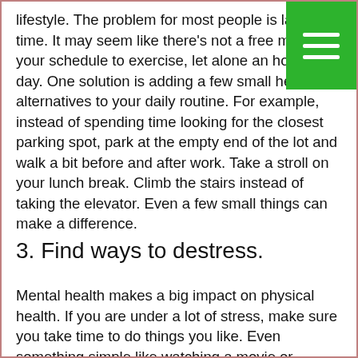lifestyle. The problem for most people is lack of time. It may seem like there’s not a free moment in your schedule to exercise, let alone an hour every day. One solution is adding a few small healthy alternatives to your daily routine. For example, instead of spending time looking for the closest parking spot, park at the empty end of the lot and walk a bit before and after work. Take a stroll on your lunch break. Climb the stairs instead of taking the elevator. Even a few small things can make a difference.
3. Find ways to destress.
Mental health makes a big impact on physical health. If you are under a lot of stress, make sure you take time to do things you like. Even something simple like watching a movie or reading a book can be relaxing. If possible, it is the best to avoid overloading yourself with too much work. Taking on too much work can lead to burnout and decrease your productivity and efficiency.